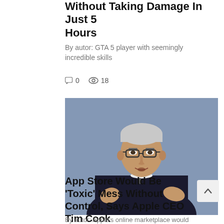Without Taking Damage In Just 5 Hours
By autor: GTA 5 player with seemingly incredible skills
0   18
[Figure (photo): Photo of Tim Cook, Apple CEO, wearing a dark navy sweater, speaking on stage in front of a blue-grey background, gesturing with his hands.]
App Store Would Be 'Toxic' Mess Without Control, Says Apple CEO Tim Cook
By autor: Apple's online marketplace would